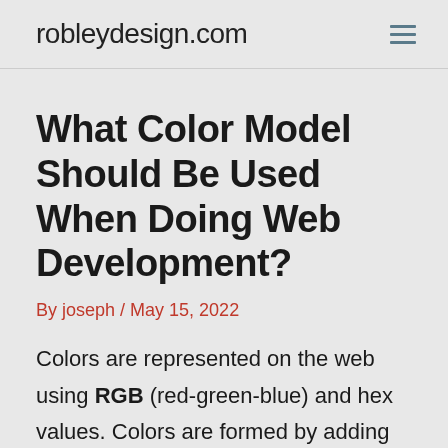robleydesign.com
What Color Model Should Be Used When Doing Web Development?
By joseph / May 15, 2022
Colors are represented on the web using RGB (red-green-blue) and hex values. Colors are formed by adding colored light to darkness in the RGB color model. All colors are defined by the